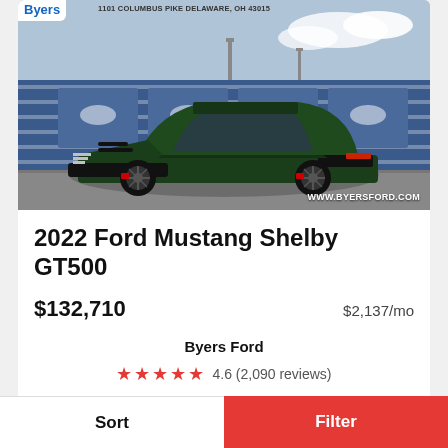[Figure (photo): Dark green 2022 Ford Mustang Shelby GT500 parked in front of blue Ford transport trucks. Byers Ford dealer logo and address visible at top. Watermark: WWW.BYERSFORD.COM at bottom right.]
2022 Ford Mustang Shelby GT500
$132,710   $2,137/mo
Byers Ford
4.6 (2,090 reviews)